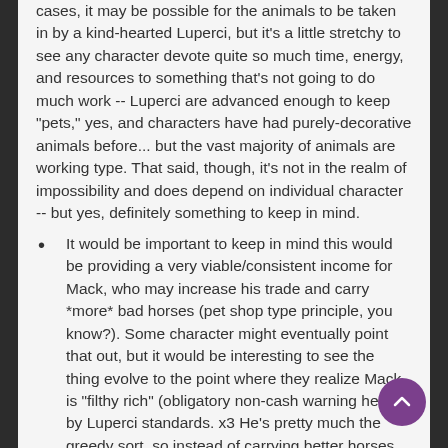cases, it may be possible for the animals to be taken in by a kind-hearted Luperci, but it's a little stretchy to see any character devote quite so much time, energy, and resources to something that's not going to do much work -- Luperci are advanced enough to keep "pets," yes, and characters have had purely-decorative animals before... but the vast majority of animals are working type. That said, though, it's not in the realm of impossibility and does depend on individual character -- but yes, definitely something to keep in mind.
It would be important to keep in mind this would be providing a very viable/consistent income for Mack, who may increase his trade and carry *more* bad horses (pet shop type principle, you know?). Some character might eventually point that out, but it would be interesting to see the thing evolve to the point where they realize Mack is "filthy rich" (obligatory non-cash warning here) by Luperci standards. x3 He's pretty much the greedy sort, so instead of carrying better horses, he'd probably just widen his pool of shit ones...